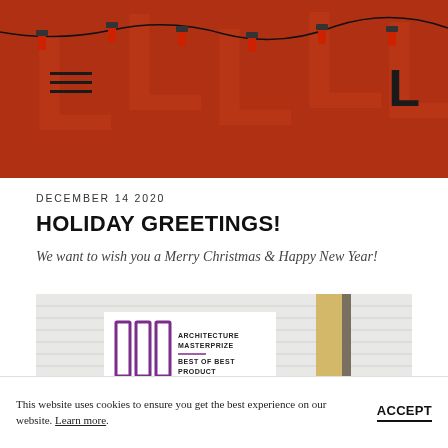[Figure (illustration): Red holiday banner with string of lights decoration, hamburger menu icon on left, bold black L logo on right]
DECEMBER 14 2020
HOLIDAY GREETINGS!
We want to wish you a Merry Christmas & Happy New Year!
[Figure (photo): Product photo showing white horizontal panels/slats with a yellow and dark accent panel on the right side, and an Architecture Masterprize Best of Best Product 2020 award badge on the left]
This website uses cookies to ensure you get the best experience on our website. Learn more.